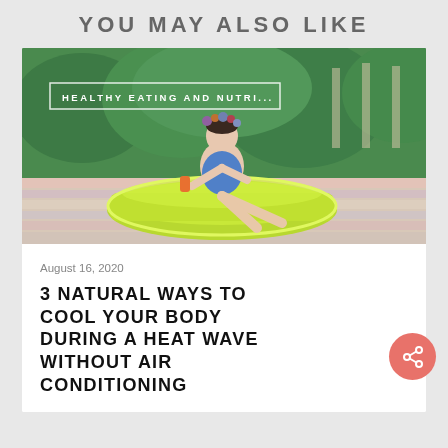YOU MAY ALSO LIKE
[Figure (photo): Woman in blue swimsuit with flower crown sitting on a green inflatable pool float on a striped blanket outdoors in a garden, holding a drink. Category label reads HEALTHY EATING AND NUTRI...]
August 16, 2020
3 NATURAL WAYS TO COOL YOUR BODY DURING A HEAT WAVE WITHOUT AIR CONDITIONING